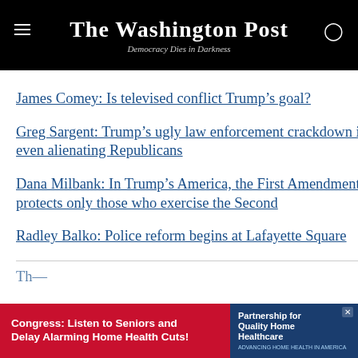The Washington Post — Democracy Dies in Darkness
James Comey: Is televised conflict Trump's goal?
Greg Sargent: Trump's ugly law enforcement crackdown is even alienating Republicans
Dana Milbank: In Trump's America, the First Amendment protects only those who exercise the Second
Radley Balko: Police reform begins at Lafayette Square
[Figure (screenshot): Advertisement banner: Congress: Listen to Seniors and Delay Alarming Home Health Cuts! Partnership for Quality Home Healthcare]